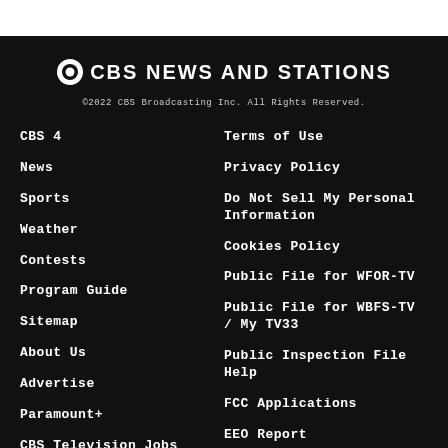CBS NEWS AND STATIONS
©2022 CBS Broadcasting Inc. All Rights Reserved.
CBS 4
News
Sports
Weather
Contests
Program Guide
Sitemap
About Us
Advertise
Paramount+
CBS Television Jobs
Terms of Use
Privacy Policy
Do Not Sell My Personal Information
Cookies Policy
Public File for WFOR-TV
Public File for WBFS-TV / My TV33
Public Inspection File Help
FCC Applications
EEO Report